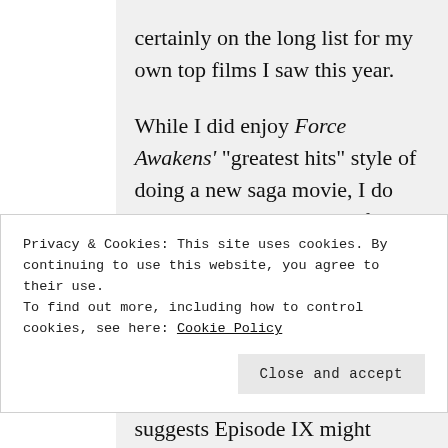certainly on the long list for my own top films I saw this year.

While I did enjoy Force Awakens' “greatest hits” style of doing a new saga movie, I do agree Han’s death doesn’t feel warranted, and I think that having Rian Johnson as writer & director gives
Privacy & Cookies: This site uses cookies. By continuing to use this website, you agree to their use.
To find out more, including how to control cookies, see here: Cookie Policy
Close and accept
suggests Episode IX might